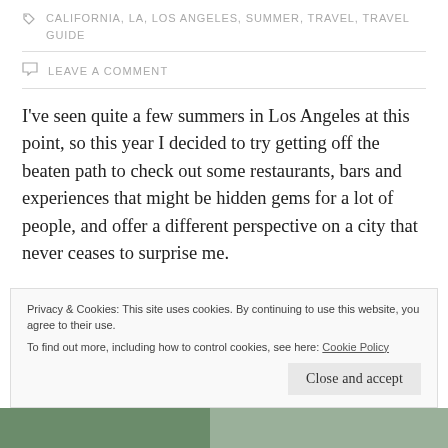CALIFORNIA, LA, LOS ANGELES, SUMMER, TRAVEL, TRAVEL GUIDE
LEAVE A COMMENT
I've seen quite a few summers in Los Angeles at this point, so this year I decided to try getting off the beaten path to check out some restaurants, bars and experiences that might be hidden gems for a lot of people, and offer a different perspective on a city that never ceases to surprise me.
Privacy & Cookies: This site uses cookies. By continuing to use this website, you agree to their use. To find out more, including how to control cookies, see here: Cookie Policy
Close and accept
[Figure (photo): Bottom strip showing trees and outdoor scenery, partially visible]